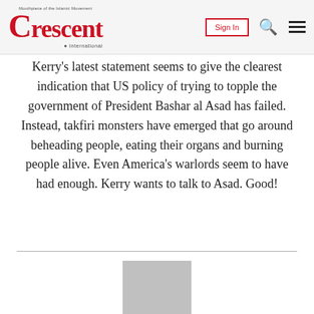Crescent International — Sign In
Kerry's latest statement seems to give the clearest indication that US policy of trying to topple the government of President Bashar al Asad has failed. Instead, takfiri monsters have emerged that go around beheading people, eating their organs and burning people alive. Even America's warlords seem to have had enough. Kerry wants to talk to Asad. Good!
[Figure (photo): Partially visible photograph placeholder below the text content]